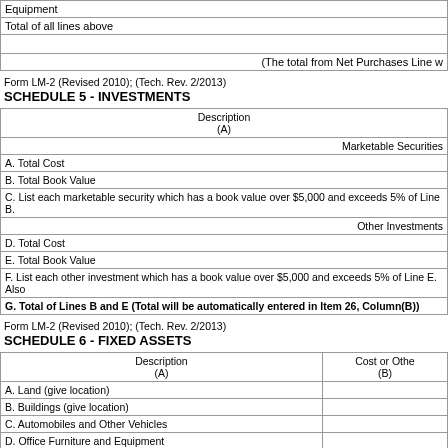| Equipment |  |
| --- | --- |
| Total of all lines above |  |
|  | (The total from Net Purchases Line w |
Form LM-2 (Revised 2010); (Tech. Rev. 2/2013)
SCHEDULE 5 - INVESTMENTS
| Description
(A) |  |
| --- | --- |
| Marketable Securities |  |
| A. Total Cost |  |
| B. Total Book Value |  |
| C. List each marketable security which has a book value over $5,000 and exceeds 5% of Line B. |  |
| Other Investments |  |
| D. Total Cost |  |
| E. Total Book Value |  |
| F. List each other investment which has a book value over $5,000 and exceeds 5% of Line E.  Also |  |
| G. Total of Lines B and E (Total will be automatically entered in Item 26, Column(B)) |  |
Form LM-2 (Revised 2010); (Tech. Rev. 2/2013)
SCHEDULE 6 - FIXED ASSETS
| Description
(A) | Cost or Othe
(B) |
| --- | --- |
| A. Land (give location) |  |
| B. Buildings (give location) |  |
| C. Automobiles and Other Vehicles |  |
| D. Office Furniture and Equipment |  |
| E. Other Fixed Assets |  |
| F. Totals of Lines A through E (Column(D) Total will be automatically entered in |  |